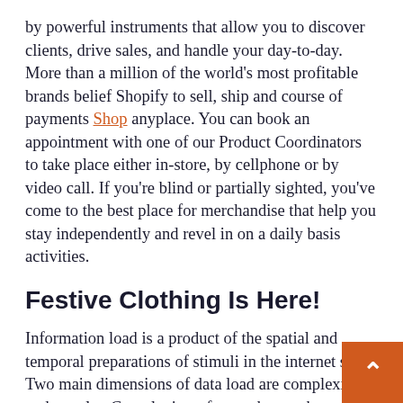by powerful instruments that allow you to discover clients, drive sales, and handle your day-to-day. More than a million of the world's most profitable brands belief Shopify to sell, ship and course of payments Shop anyplace. You can book an appointment with one of our Product Coordinators to take place either in-store, by cellphone or by video call. If you're blind or partially sighted, you've come to the best place for merchandise that help you stay independently and revel in on a daily basis activities.
Festive Clothing Is Here!
Information load is a product of the spatial and temporal preparations of stimuli in the internet store. Two main dimensions of data load are complexity and novelty. Complexity refers to the number of totally different components or options of a site, usually the results of increased information variety.
Fairphone four even provides the flexibleness to use